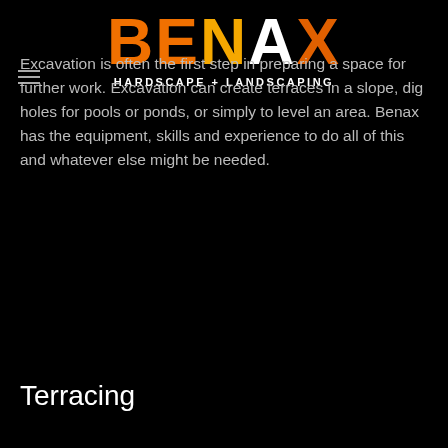[Figure (logo): Benax Hardscape + Landscaping logo with large bold BENAX text in orange/white and subtitle 'HARDSCAPE + LANDSCAPING']
Excavation is often the first step in preparing a space for further work. Excavation can create terraces in a slope, dig holes for pools or ponds, or simply to level an area. Benax has the equipment, skills and experience to do all of this and whatever else might be needed.
Terracing